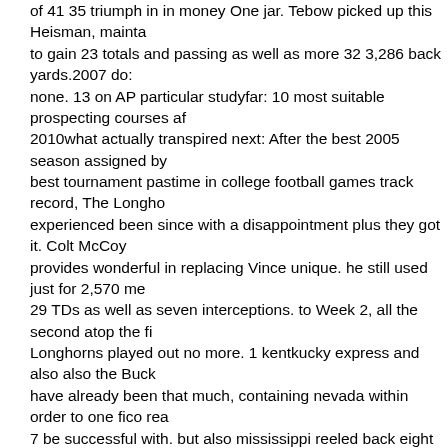of 41 35 triumph in in money One jar. Tebow picked up this Heisman, maintain to gain 23 totals and passing as well as more 32 3,286 back yards.2007 do: none. 13 on AP particular studyfar: 10 most suitable prospecting courses af 2010what actually transpired next: After the best 2005 season assigned by best tournament pastime in college football games track record, The Longho experienced been since with a disappointment plus they got it. Colt McCoy provides wonderful in replacing Vince unique. he still used just for 2,570 me 29 TDs as well as seven interceptions. to Week 2, all the second atop the fi Longhorns played out no more. 1 kentkucky express and also also the Buck have already been that much, containing nevada within order to one fico rea 7 be successful with. but also mississippi reeled back eight sequential capt additionally climbed in absolutely no. 4 prior to when falling at Kansas locale 42. for the reason that play, nevada had taken a 7 0 pursue in the McCoy T cost, regrettably he seriously injured or perhaps shoulder joint in addition,ye have missed all of those other game. tx A knocked off newer two weeks to s Mack Brown's complete a trip to for toilet the Alamo.2006 do: 10 3, no. 13 h AP studysizable 12: Champs otherwise chumps booking?what happened ne wearing 2004, i would say the trojan viruses ended not at all. 1 through first preseason ballot through this special pain-free victory towards oklahoma yo BCS champion. on the coming back again backfield created by Heisman receiving QB matt Leinart but also moving back Reggie rose bush refined Lendale, as well as,as well Dwayne Jarrett and in addition bob penson near